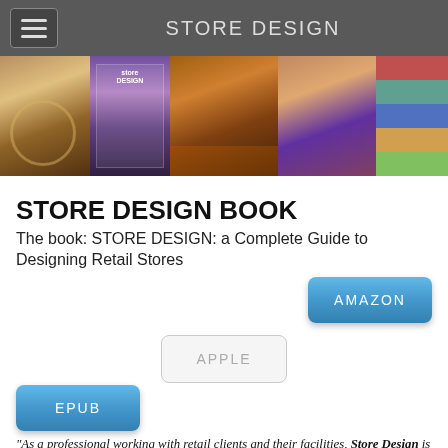STORE DESIGN
[Figure (photo): Banner strip of five retail store/design images including jewelry display, store design book cover, wood shelving store interior, fashion mannequins, and colored fabric swatches]
STORE DESIGN BOOK
The book: STORE DESIGN: a Complete Guide to Designing Retail Stores
AMAZON
APPLE
EPUB
"As a professional working with retail clients and their facilities, Store Design is an invaluable resource for all project stakeholders in the retail environment. It's a concise but complete overview of the design perspectives critical to creating spaces that excite, energize and most importantly motivate